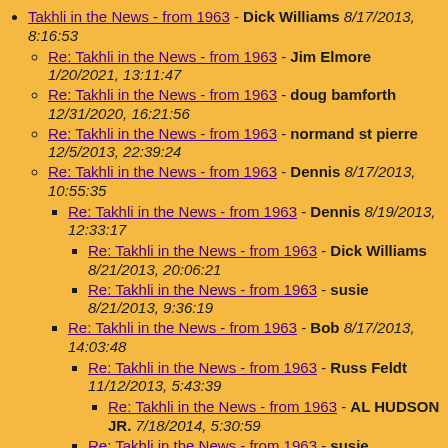Takhli in the News - from 1963 - Dick Williams 8/17/2013, 8:16:53
Re: Takhli in the News - from 1963 - Jim Elmore 1/20/2021, 13:11:47
Re: Takhli in the News - from 1963 - doug bamforth 12/31/2020, 16:21:56
Re: Takhli in the News - from 1963 - normand st pierre 12/5/2013, 22:39:24
Re: Takhli in the News - from 1963 - Dennis 8/17/2013, 10:55:35
Re: Takhli in the News - from 1963 - Dennis 8/19/2013, 12:33:17
Re: Takhli in the News - from 1963 - Dick Williams 8/21/2013, 20:06:21
Re: Takhli in the News - from 1963 - susie 8/21/2013, 9:36:19
Re: Takhli in the News - from 1963 - Bob 8/17/2013, 14:03:48
Re: Takhli in the News - from 1963 - Russ Feldt 11/12/2013, 5:43:39
Re: Takhli in the News - from 1963 - AL HUDSON JR. 7/18/2014, 5:30:59
Re: Takhli in the News - from 1963 - susie 8/19/2013, 5:56:54
Re: Takhli in the News - from 1963 - Bob Wiley